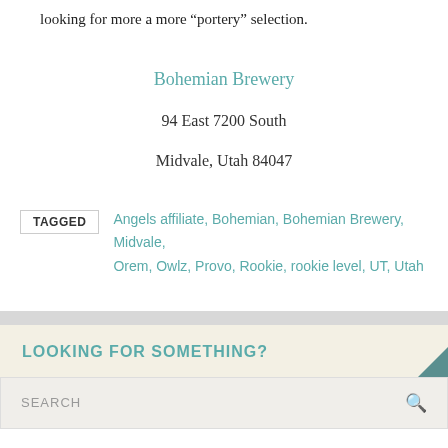looking for more a more “portery” selection.
Bohemian Brewery
94 East 7200 South
Midvale, Utah 84047
TAGGED  Angels affiliate, Bohemian, Bohemian Brewery, Midvale, Orem, Owlz, Provo, Rookie, rookie level, UT, Utah
LOOKING FOR SOMETHING?
SEARCH